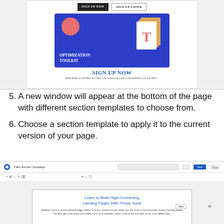[Figure (screenshot): Screenshot of a landing page editor showing an 'OPTIMIZATION TOOLKIT' promotional image with 'SIGN UP NOW' and 'SIGN UP LATER' buttons, and a blue graphic with 'OPTIMIZATION TOOLKIT' text. Below the image is a 'SIGN UP NOW' link in blue.]
5. A new window will appear at the bottom of the page with different section templates to choose from.
6. Choose a section template to apply it to the current version of your page.
[Figure (screenshot): Screenshot of a landing page builder interface showing a toolbar with 'Falls Winner Campaign' label and a blue 'Save' button. Below is a page frame showing 'Learn to Build High-Converting Landing Pages With These Tools' as the page title with body text beneath.]